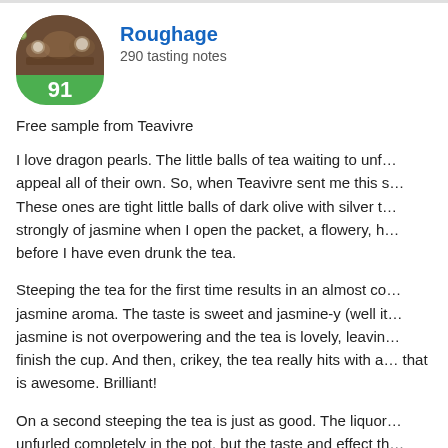[Figure (photo): Circular avatar photo showing tea cups on a wooden tray, with a green score badge showing 91 at the bottom]
Roughage
290 tasting notes
Free sample from Teavivre
I love dragon pearls. The little balls of tea waiting to unf… appeal all of their own. So, when Teavivre sent me this s… These ones are tight little balls of dark olive with silver t… strongly of jasmine when I open the packet, a flowery, h… before I have even drunk the tea.
Steeping the tea for the first time results in an almost co… jasmine aroma. The taste is sweet and jasmine-y (well it… jasmine is not overpowering and the tea is lovely, leavin… finish the cup. And then, crikey, the tea really hits with a… that is awesome. Brilliant!
On a second steeping the tea is just as good. The liquor… unfurled completely in the pot, but the taste and effect th…